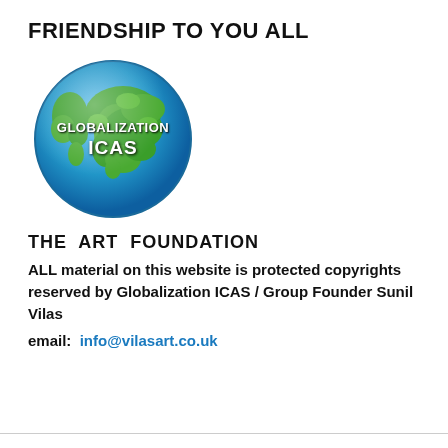FRIENDSHIP TO YOU ALL
[Figure (logo): Globe logo with text GLOBALIZATION ICAS on a blue and green Earth illustration]
THE  ART  FOUNDATION
ALL material on this website is protected copyrights reserved by Globalization ICAS / Group Founder Sunil Vilas
email:  info@vilasart.co.uk